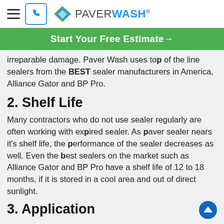PAVERWASH
Start Your Free Estimate→
irreparable damage. Paver Wash uses top of the line sealers from the BEST sealer manufacturers in America, Alliance Gator and BP Pro.
2. Shelf Life
Many contractors who do not use sealer regularly are often working with expired sealer. As paver sealer nears it's shelf life, the performance of the sealer decreases as well. Even the best sealers on the market such as Alliance Gator and BP Pro have a shelf life of 12 to 18 months, if it is stored in a cool area and out of direct sunlight.
3. Application